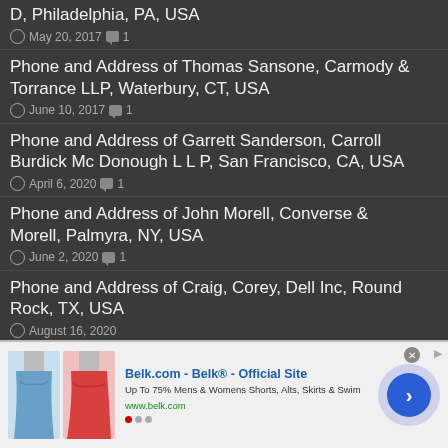D, Philadelphia, PA, USA — May 20, 2017 💬 1
Phone and Address of Thomas Sansone, Carmody & Torrance LLP, Waterbury, CT, USA — June 10, 2017 💬 1
Phone and Address of Garrett Sanderson, Carroll Burdick Mc Donough L L P, San Francisco, CA, USA — April 6, 2020 💬 1
Phone and Address of John Morell, Converse & Morell, Palmyra, NY, USA — June 2, 2020 💬 1
Phone and Address of Craig, Corey, Dell Inc, Round Rock, TX, USA — August 16, 2020
[Figure (other): Advertisement banner for Belk.com showing clothing items (blue and red skirts), ad text 'Belk.com - Belk® - Official Site', 'Up To 75% Mens & Womens Shorts, Alts, Skirts & Swim', 'www.belk.com', with navigation arrow button]